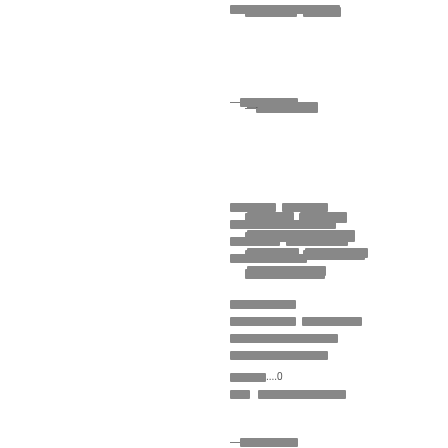[redacted] [redacted]
—[redacted]
[redacted] [redacted]
[redacted]
[redacted] [redacted]
[redacted]
[redacted]
[redacted] [redacted]
[redacted]
[redacted]
[redacted]....0
[redacted] [redacted]
—[redacted]
[redacted] [redacted]